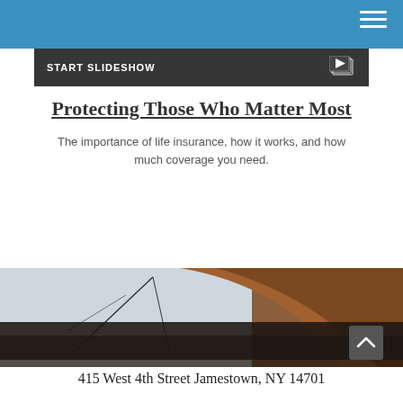Navigation bar with hamburger menu
[Figure (screenshot): START SLIDESHOW banner with play/slideshow icon on dark background]
Protecting Those Who Matter Most
The importance of life insurance, how it works, and how much coverage you need.
[Figure (photo): Sailboat sail against sky background photo]
415 West 4th Street Jamestown, NY 14701